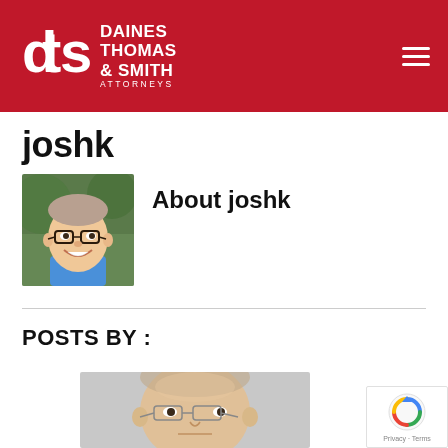Daines Thomas & Smith Attorneys
joshk
About joshk
[Figure (photo): Headshot of a smiling young man with glasses and short hair, wearing a blue shirt]
POSTS BY :
[Figure (photo): Close-up photo of a middle-aged man with glasses]
[Figure (other): reCAPTCHA badge with Privacy and Terms links]